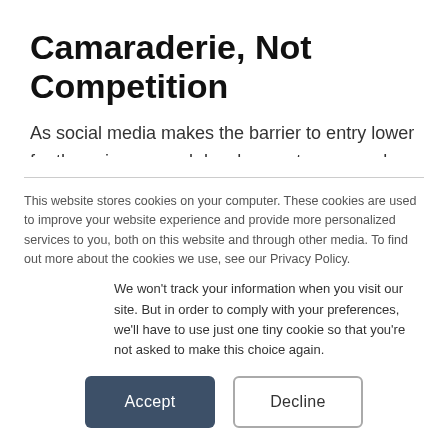Camaraderie, Not Competition
As social media makes the barrier to entry lower for those in personal development, more and more people are putting their names in the ring. Forleo doesn't see new players as competition, but rather as allies.
This website stores cookies on your computer. These cookies are used to improve your website experience and provide more personalized services to you, both on this website and through other media. To find out more about the cookies we use, see our Privacy Policy.
We won't track your information when you visit our site. But in order to comply with your preferences, we'll have to use just one tiny cookie so that you're not asked to make this choice again.